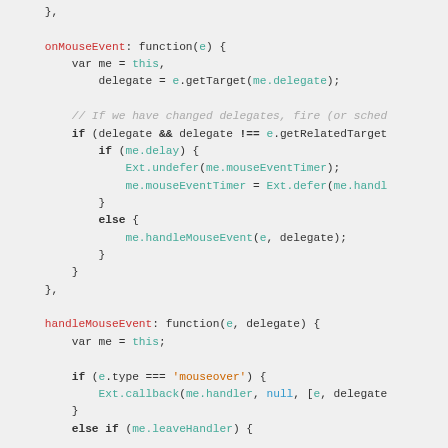JavaScript source code snippet showing onMouseEvent and handleMouseEvent function definitions